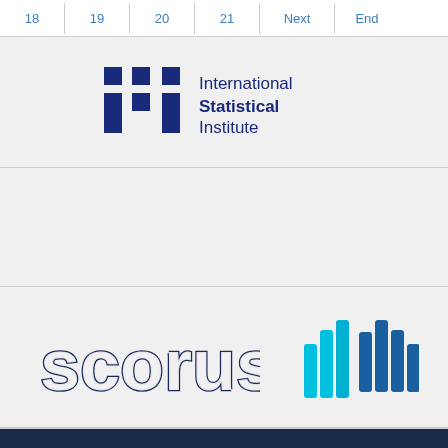18  19  20  21  Next  End
[Figure (logo): International Statistical Institute (ISI) logo with stylized 'isi' text and full name]
[Figure (logo): Scorus logo with stylized text and bar chart icon]